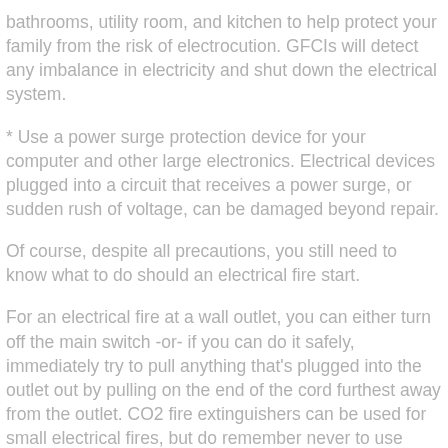bathrooms, utility room, and kitchen to help protect your family from the risk of electrocution. GFCIs will detect any imbalance in electricity and shut down the electrical system.
* Use a power surge protection device for your computer and other large electronics. Electrical devices plugged into a circuit that receives a power surge, or sudden rush of voltage, can be damaged beyond repair.
Of course, despite all precautions, you still need to know what to do should an electrical fire start.
For an electrical fire at a wall outlet, you can either turn off the main switch -or- if you can do it safely, immediately try to pull anything that's plugged into the outlet out by pulling on the end of the cord furthest away from the outlet. CO2 fire extinguishers can be used for small electrical fires, but do remember never to use water on an electrical fire.
In the event the electrical fire is large or otherwise uncontrolled,